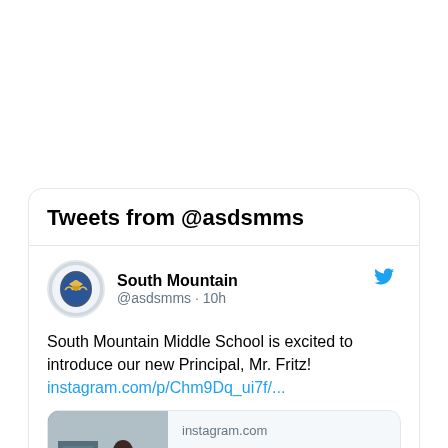Tweets from @asdsmms
South Mountain @asdsmms · 10h
South Mountain Middle School is excited to introduce our new Principal, Mr. Fritz!
instagram.com/p/Chm9Dq_ui7f/...
[Figure (screenshot): Preview card showing a photo of a man in a suit in front of a school entrance, with instagram.com domain label and 'South Mountain Middle School' title text]